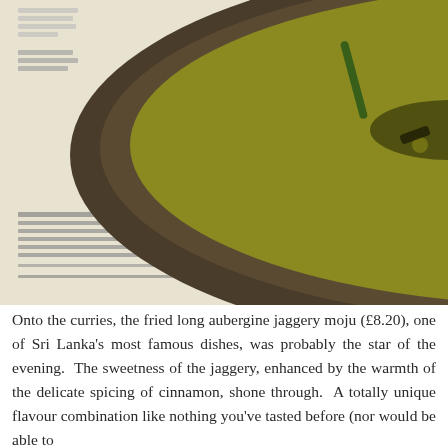[Figure (photo): A bowl of fried long aubergine jaggery moju in a dark ceramic bowl, showing the dish with green herbs, sliced onions, and dark curry sauce, with a spoon visible. The bowl is placed on top of a restaurant menu with partial text visible.]
Onto the curries, the fried long aubergine jaggery moju (£8.20), one of Sri Lanka's most famous dishes, was probably the star of the evening.  The sweetness of the jaggery, enhanced by the warmth of the delicate spicing of cinnamon, shone through.  A totally unique flavour combination like nothing you've tasted before (nor would be able to